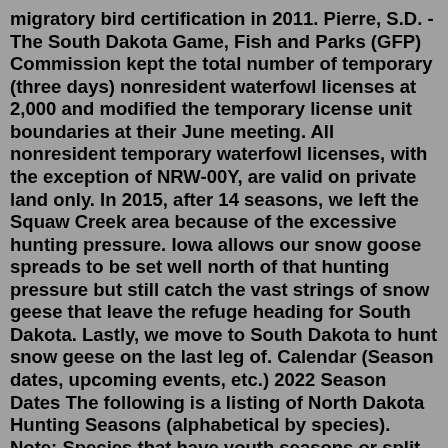migratory bird certification in 2011. Pierre, S.D. - The South Dakota Game, Fish and Parks (GFP) Commission kept the total number of temporary (three days) nonresident waterfowl licenses at 2,000 and modified the temporary license unit boundaries at their June meeting. All nonresident temporary waterfowl licenses, with the exception of NRW-00Y, are valid on private land only. In 2015, after 14 seasons, we left the Squaw Creek area because of the excessive hunting pressure. Iowa allows our snow goose spreads to be set well north of that hunting pressure but still catch the vast strings of snow geese that leave the refuge heading for South Dakota. Lastly, we move to South Dakota to hunt snow geese on the last leg of. Calendar (Season dates, upcoming events, etc.) 2022 Season Dates The following is a listing of North Dakota Hunting Seasons (alphabetical by species). Note: Species that have youth seasons or split spring/fall seasons will be listed multiple times in the species selection box. PIERRE, S.D. - South Dakota Game, Fish and Parks (GFP) commission for